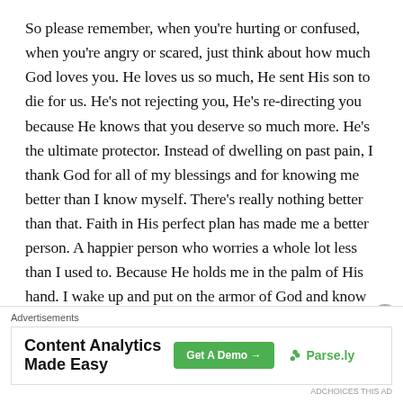So please remember, when you're hurting or confused, when you're angry or scared, just think about how much God loves you. He loves us so much, He sent His son to die for us. He's not rejecting you, He's re-directing you because He knows that you deserve so much more. He's the ultimate protector. Instead of dwelling on past pain, I thank God for all of my blessings and for knowing me better than I know myself. There's really nothing better than that. Faith in His perfect plan has made me a better person. A happier person who worries a whole lot less than I used to. Because He holds me in the palm of His hand. I wake up and put on the armor of God and know that I am safe. I am stronger than I give Him credit for. His
Advertisements
[Figure (infographic): Advertisement banner for Parse.ly Content Analytics Made Easy with a green Get A Demo button and Parse.ly logo]